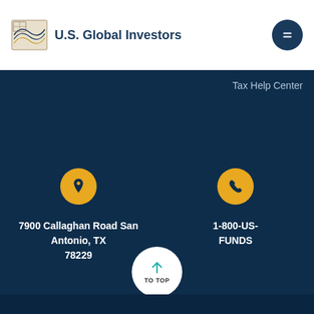U.S. Global Investors
Tax Help Center
7900 Callaghan Road San Antonio, TX 78229
1-800-US-FUNDS
TO TOP